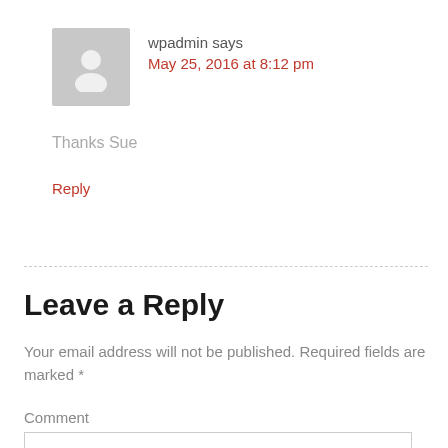[Figure (illustration): Grey avatar placeholder image of a person silhouette]
wpadmin says
May 25, 2016 at 8:12 pm
Thanks Sue
Reply
Leave a Reply
Your email address will not be published. Required fields are marked *
Comment